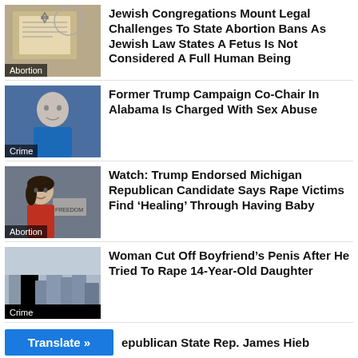[Figure (photo): Book with Star of David, labeled Abortion]
Jewish Congregations Mount Legal Challenges To State Abortion Bans As Jewish Law States A Fetus Is Not Considered A Full Human Being
[Figure (photo): Man in blue shirt, labeled Crime]
Former Trump Campaign Co-Chair In Alabama Is Charged With Sex Abuse
[Figure (photo): Woman at podium, labeled Abortion]
Watch: Trump Endorsed Michigan Republican Candidate Says Rape Victims Find ‘Healing’ Through Having Baby
[Figure (photo): Destroyed buildings, labeled Crime]
Woman Cut Off Boyfriend’s Penis After He Tried To Rape 14-Year-Old Daughter
Translate »
epublican State Rep. James Hieb